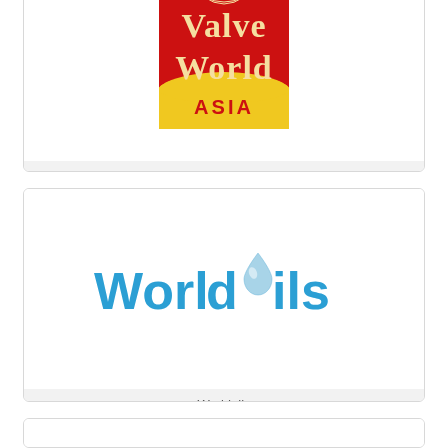[Figure (logo): Valve World Asia logo - red rectangular logo with cream/gold text 'Valve World' in serif font and 'ASIA' on yellow banner at bottom]
Valve World Asia
[Figure (logo): Worldoils logo - blue bold text 'Worldoils' with a blue water droplet replacing the letter 'o']
Worldoils